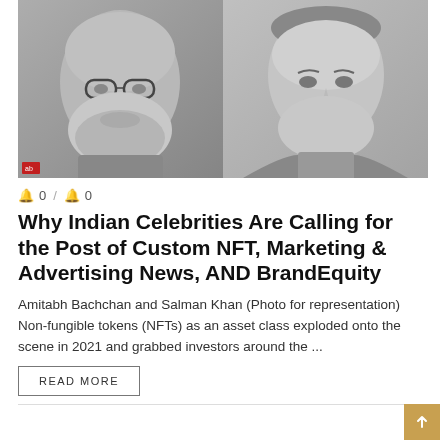[Figure (photo): Two Indian male celebrities side by side: an older man with glasses and grey beard on the left, and a younger man on the right, both shown from chest up. Grayscale/muted tones.]
🔔 0 / 🔔 0
Why Indian Celebrities Are Calling for the Post of Custom NFT, Marketing & Advertising News, AND BrandEquity
Amitabh Bachchan and Salman Khan (Photo for representation) Non-fungible tokens (NFTs) as an asset class exploded onto the scene in 2021 and grabbed investors around the ...
READ MORE